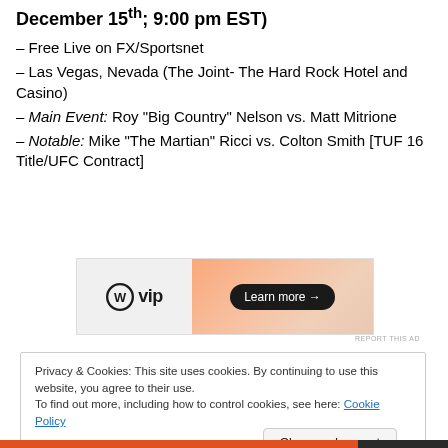December 15th; 9:00 pm EST)
– Free Live on FX/Sportsnet
– Las Vegas, Nevada (The Joint- The Hard Rock Hotel and Casino)
– Main Event: Roy “Big Country” Nelson vs. Matt Mitrione
– Notable: Mike “The Martian” Ricci vs. Colton Smith [TUF 16 Title/UFC Contract]
[Figure (other): WordPress VIP advertisement banner with Learn more button]
Privacy & Cookies: This site uses cookies. By continuing to use this website, you agree to their use. To find out more, including how to control cookies, see here: Cookie Policy
Close and accept